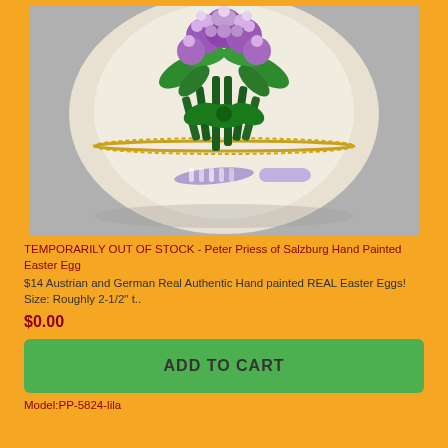[Figure (photo): Close-up photo of a hand-painted Easter egg from Peter Priess of Salzburg. The egg is cream/white with an embroidered or beaded floral design featuring purple flowers (lilac/lavender) and green leaves tied with a green ribbon. A light purple/lavender ribbon bow and tassel hang at the bottom. The egg has a gold trim edge suggesting it opens like a locket.]
TEMPORARILY OUT OF STOCK - Peter Priess of Salzburg Hand Painted Easter Egg
$14 Austrian and German Real Authentic Hand painted REAL Easter Eggs! Size: Roughly 2-1/2" t..
$0.00
ADD TO CART
Model:PP-5824-lila